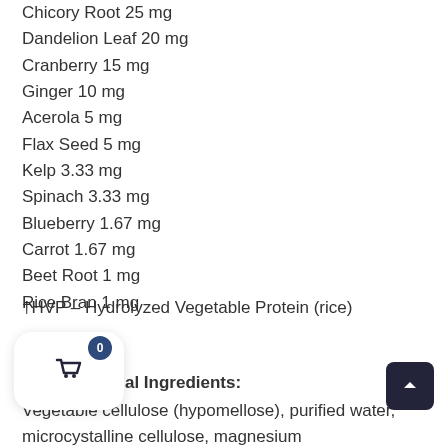Chicory Root 25 mg
Dandelion Leaf 20 mg
Cranberry 15 mg
Ginger 10 mg
Acerola 5 mg
Flax Seed 5 mg
Kelp 3.33 mg
Spinach 3.33 mg
Blueberry 1.67 mg
Carrot 1.67 mg
Beet Root 1 mg
Rice Bran 1 mg
†HVP – Hydrolyzed Vegetable Protein (rice)
Non-medicinal Ingredients:
Vegetable cellulose (hypomellose), purified water, microcystalline cellulose, magnesium stearate (vegetable)